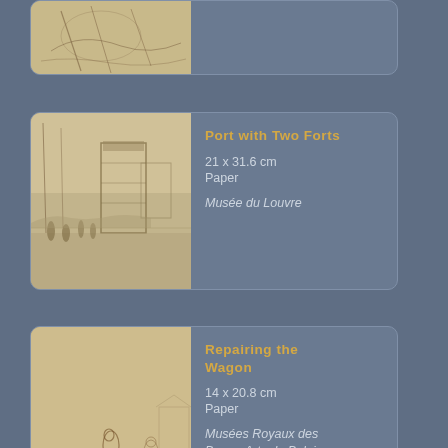[Figure (illustration): Partial view of a sepia/brown sketch drawing (top card, cropped)]
Port with Two Forts
21 x 31.6 cm
Paper
Musée du Louvre
[Figure (illustration): Pencil/ink sketch of a port scene with a round tower fort and figures on a quay]
Repairing the Wagon
14 x 20.8 cm
Paper
Musées Royaux des Beaux-Arts de Belgique
[Figure (illustration): Brown ink sketch of horses and figures around a wagon being repaired]
River Bank
18.8 x 29.7 cm
[Figure (illustration): Partial view of a sketch showing sailing vessels at a river bank (bottom card, cropped)]